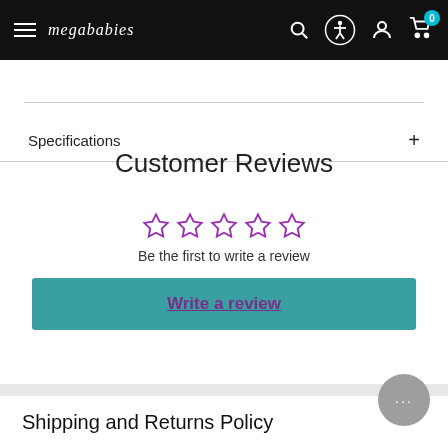megababies — navigation bar with hamburger menu, search, accessibility, account, and cart icons
Specifications +
Customer Reviews
[Figure (other): Five empty star rating icons in purple outline]
Be the first to write a review
Write a review
Shipping and Returns Policy